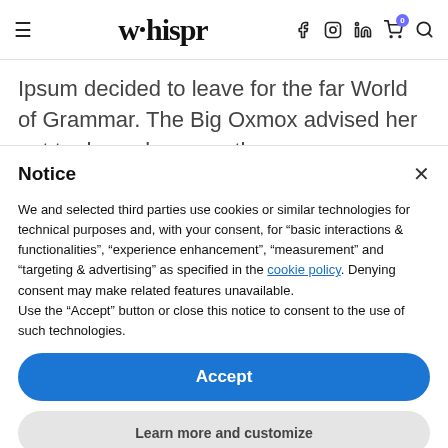whispr — navigation bar with menu, logo, social icons, cart, search
Ipsum decided to leave for the far World of Grammar. The Big Oxmox advised her not to do so, because there were
Notice
We and selected third parties use cookies or similar technologies for technical purposes and, with your consent, for “basic interactions & functionalities”, “experience enhancement”, “measurement” and “targeting & advertising” as specified in the cookie policy. Denying consent may make related features unavailable.
Use the “Accept” button or close this notice to consent to the use of such technologies.
Accept
Learn more and customize